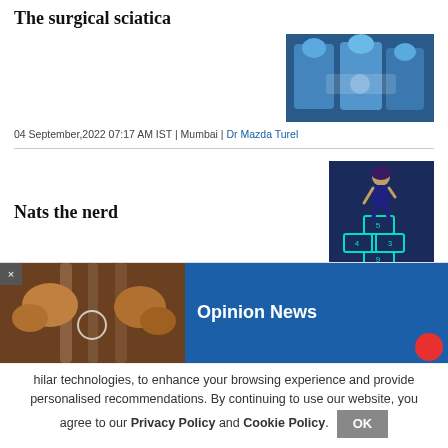The surgical sciatica
[Figure (photo): Surgeons in blue scrubs performing an operation under bright surgical lights]
04 September,2022 07:17 AM IST | Mumbai | Dr Mazda Turel
Nats the nerd
[Figure (illustration): Cartoon illustration of a girl playing hopscotch with numbered squares on a blue background]
04 September,2022 07:16 AM IST | Mumbai | Rahul da Cunha
[Figure (photo): Hands gripping metal prison bars, close-up photograph]
Opinion News
hilar technologies, to enhance your browsing experience and provide personalised recommendations. By continuing to use our website, you agree to our Privacy Policy and Cookie Policy.